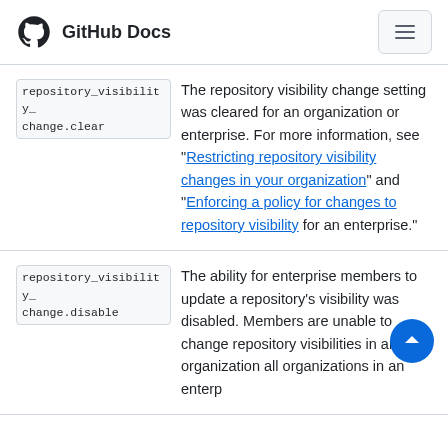GitHub Docs
| Action | Description |
| --- | --- |
| repository_visibility_change.clear | The repository visibility change setting was cleared for an organization or enterprise. For more information, see "Restricting repository visibility changes in your organization" and "Enforcing a policy for changes to repository visibility for an enterprise." |
| repository_visibility_change.disable | The ability for enterprise members to update a repository's visibility was disabled. Members are unable to change repository visibilities in an organization all organizations in an enterprise. |